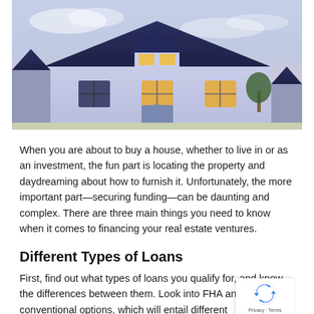[Figure (photo): Photograph of a suburban house at dusk/twilight with illuminated windows, dark blue roof, against a cloudy sky background]
When you are about to buy a house, whether to live in or as an investment, the fun part is locating the property and daydreaming about how to furnish it. Unfortunately, the more important part—securing funding—can be daunting and complex. There are three main things you need to know when it comes to financing your real estate ventures.
Different Types of Loans
First, find out what types of loans you qualify for, and know the differences between them. Look into FHA and conventional options, which will entail different